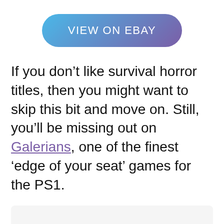[Figure (other): A rounded pill-shaped button with a blue-to-purple gradient background and white uppercase text reading 'VIEW ON EBAY']
If you don’t like survival horror titles, then you might want to skip this bit and move on. Still, you’ll be missing out on Galerians, one of the finest ‘edge of your seat’ games for the PS1.
[Figure (other): A light gray rounded rectangle placeholder box]